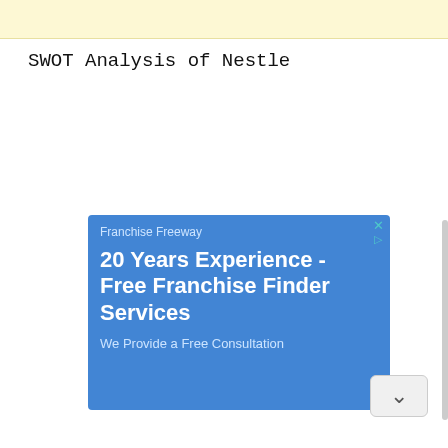[Figure (other): Yellow banner header background at top of page with partially visible text (clipped)]
SWOT Analysis of Nestle
[Figure (other): Advertisement banner with blue background. Brand: Franchise Freeway. Headline: 20 Years Experience - Free Franchise Finder Services. Subtext: We Provide a Free Consultation. Has close/ad icon in top right corner and a chevron down button.]